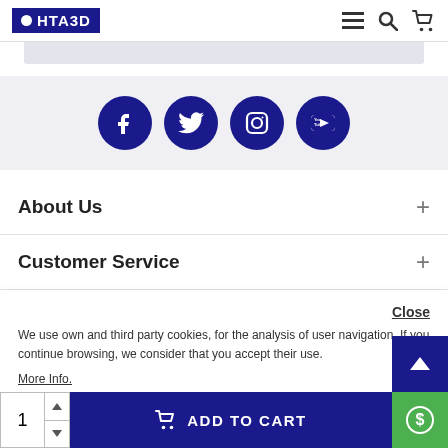[Figure (logo): HTA3D logo — dark navy rectangle with white circle and HTA3D text in white]
[Figure (infographic): Header icons: hamburger menu, search magnifying glass, shopping cart]
[Figure (infographic): Social media icons row: Facebook, Twitter, Instagram, YouTube — all white on navy circle backgrounds]
About Us
Customer Service
My Account
We use own and third party cookies, for the analysis of user navigation. If you continue browsing, we consider that you accept their use.
More Info.
Close
ate Reserved
1
ADD TO CART